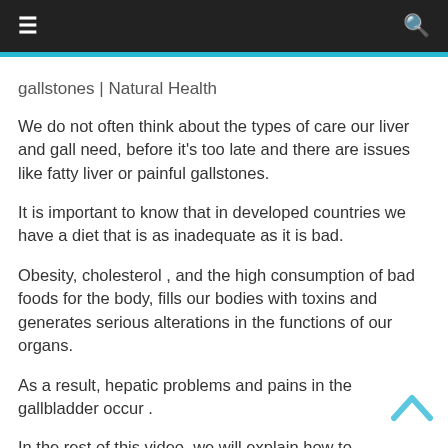gallstones | Natural Health
We do not often think about the types of care our liver and gall need, before it's too late and there are issues like fatty liver or painful gallstones.
It is important to know that in developed countries we have a diet that is as inadequate as it is bad.
Obesity, cholesterol , and the high consumption of bad foods for the body, fills our bodies with toxins and generates serious alterations in the functions of our organs.
As a result, hepatic problems and pains in the gallbladder occur .
In the rest of this video, we will explain how to